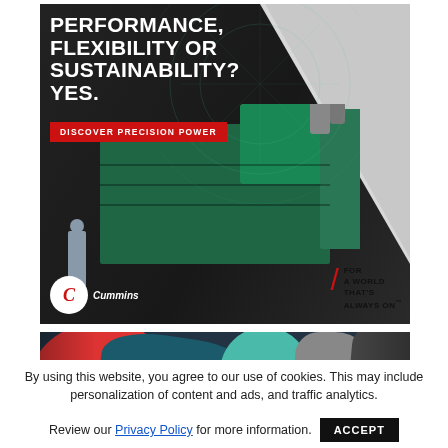[Figure (photo): Cummins advertisement banner featuring a large industrial generator/engine in teal/green color, a person standing next to it, dark background with diagonal white cut. Text overlay: 'PERFORMANCE, FLEXIBILITY OR SUSTAINABILITY? YES.' with red CTA button 'DISCOVER PRECISION POWER'. Cummins logo bottom left, tagline 'FOR A WORLD THAT'S ALWAYS ON' bottom right.]
[Figure (photo): Close-up photo of industrial pipes and fittings in teal/green, red, and grey colors.]
By using this website, you agree to our use of cookies. This may include personalization of content and ads, and traffic analytics.
Review our Privacy Policy for more information.  ACCEPT